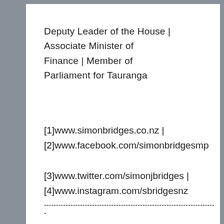Deputy Leader of the House | Associate Minister of Finance | Member of Parliament for Tauranga
[1]www.simonbridges.co.nz | [2]www.facebook.com/simonbridgesmp
[3]www.twitter.com/simonjbridges | [4]www.instagram.com/sbridgesnz
------------------------------------------------------------------------